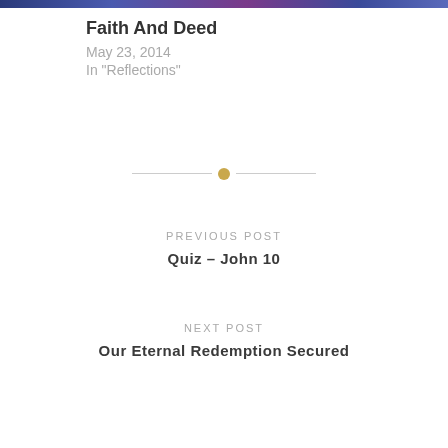[Figure (photo): Decorative image bar at top of page with blue and purple starry/galactic colors]
Faith And Deed
May 23, 2014
In "Reflections"
[Figure (other): Horizontal divider with a small gold/tan circle in the center and thin lines extending to each side]
PREVIOUS POST
Quiz – John 10
NEXT POST
Our Eternal Redemption Secured